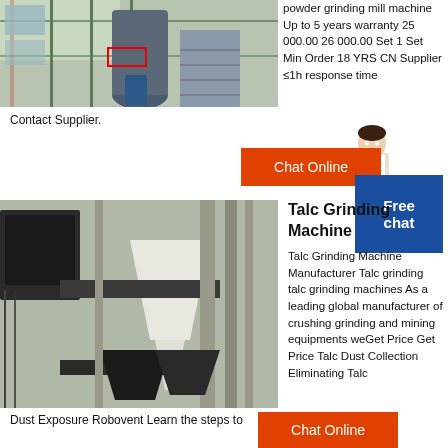[Figure (photo): Industrial powder grinding mill machine with scaffolding and stairs, inside a factory building]
powder grinding mill machine Up to 5 years warranty 25 000.00 26 000.00 Set 1 Set Min Order 18 YRS CN Supplier ≤1h response time
Contact Supplier.
[Figure (illustration): Free chat button with customer service avatar]
[Figure (photo): Talc grinding machine industrial equipment in a factory setting, showing dust collection and conveyor components]
Talc Grinding Machine
Talc Grinding Machine Manufacturer Talc grinding talc grinding machines As a leading global manufacturer of crushing grinding and mining equipments weGet Price Get Price Talc Dust Collection Eliminating Talc
Dust Exposure Robovent Learn the steps to
[Figure (other): Chat Online orange button]